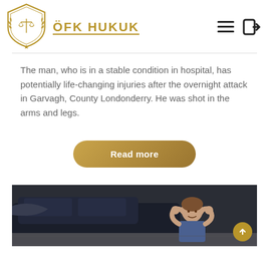[Figure (logo): ÖFK Hukuk law firm logo — golden shield with scales of justice and laurel wreath]
ÖFK HUKUK
The man, who is in a stable condition in hospital, has potentially life-changing injuries after the overnight attack in Garvagh, County Londonderry. He was shot in the arms and legs.
Read more
[Figure (photo): A man looking distressed near a crashed car, holding his head in his hands]